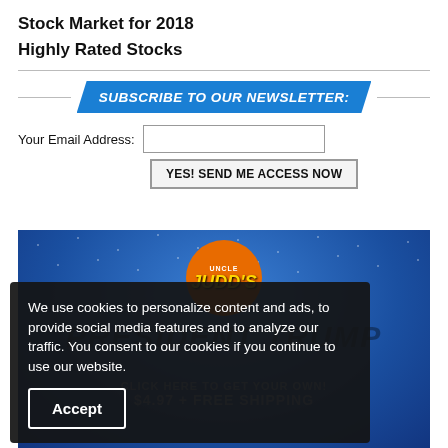Stock Market for 2018
Highly Rated Stocks
[Figure (infographic): Subscribe to our newsletter banner with blue parallelogram shape and italic bold white text 'SUBSCRIBE TO OUR NEWSLETTER:']
Your Email Address:
[Figure (screenshot): Uncle Judd's advertisement banner with blue star-patterned background, orange circular logo with 'UNCLE JUDD'S' text, large faded 'PRESIDENT TRUMP' text, and product offer text 'CLICK HERE TO GET YOUR OWN! $4.97 + FREE SHIPPING']
We use cookies to personalize content and ads, to provide social media features and to analyze our traffic. You consent to our cookies if you continue to use our website.
Accept